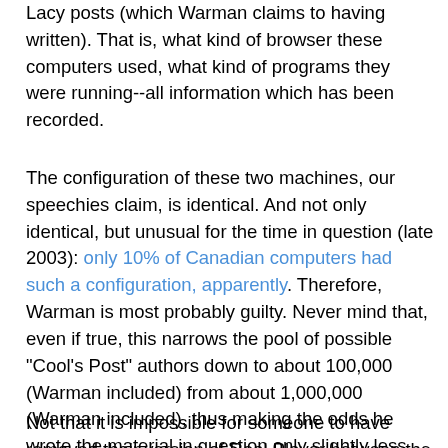Lacy posts (which Warman claims to having written). That is, what kind of browser these computers used, what kind of programs they were running--all information which has been recorded.
The configuration of these two machines, our speechies claim, is identical. And not only identical, but unusual for the time in question (late 2003): only 10% of Canadian computers had such a configuration, apparently. Therefore, Warman is most probably guilty. Never mind that, even if true, this narrows the pool of possible "Cool's Post" authors down to about 100,000 (Warman included) from about 1,000,000 (Warman included), thus making the odds he wrote the material in question only slightly less astronomical. But, as it turns out, the configuration on the two machines is not identical. Bucket's elaborates the differences here, but the most telling one as far as I am concerned is that the machine making the Cools post in September is using a version of Realplayer, a bit of software missing from Warman's machine when he writes as Lucy in October.
Not that it is impossible for someone to have removed their version of Real Player between the two dates in question